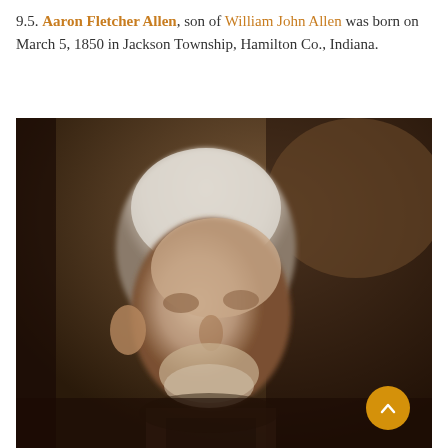9.5. Aaron Fletcher Allen, son of William John Allen was born on March 5, 1850 in Jackson Township, Hamilton Co., Indiana.
[Figure (photo): Sepia-toned portrait photograph of an elderly man with white hair and a beard, facing slightly to the right. Background is dark brown. The image is a cropped close-up showing the head and upper shoulders.]